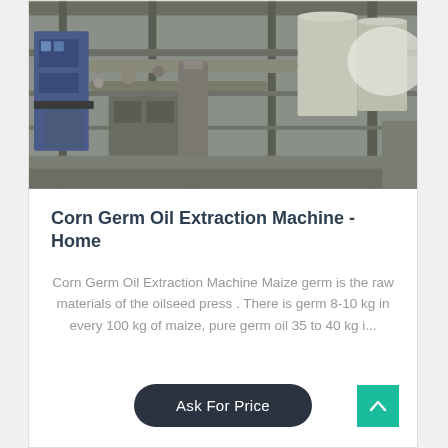[Figure (photo): Industrial corn germ oil extraction machinery showing pipes, tanks, and structural steel framework inside a factory building]
Corn Germ Oil Extraction Machine - Home
Corn Germ Oil Extraction Machine Maize germ is the raw materials of the oilseed press . There is germ 8-10 kg in every 100 kg of maize, pure germ oil 35 to 40 kg i...
Ask For Price